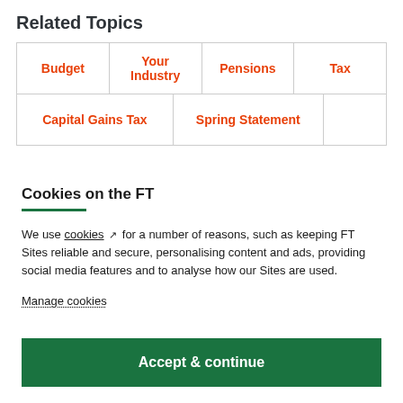Related Topics
Budget
Your Industry
Pensions
Tax
Capital Gains Tax
Spring Statement
Cookies on the FT
We use cookies for a number of reasons, such as keeping FT Sites reliable and secure, personalising content and ads, providing social media features and to analyse how our Sites are used.
Manage cookies
Accept & continue